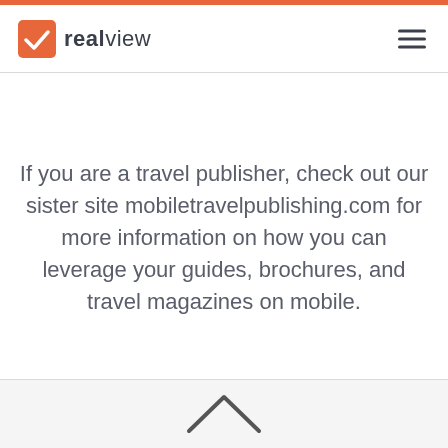[Figure (logo): RealView logo: orange square with white 'rv' checkmark icon followed by text 'realview' in dark gray]
If you are a travel publisher, check out our sister site mobiletravelpublishing.com for more information on how you can leverage your guides, brochures, and travel magazines on mobile.
[Figure (illustration): Up-pointing chevron/caret arrow icon at the bottom of the page]